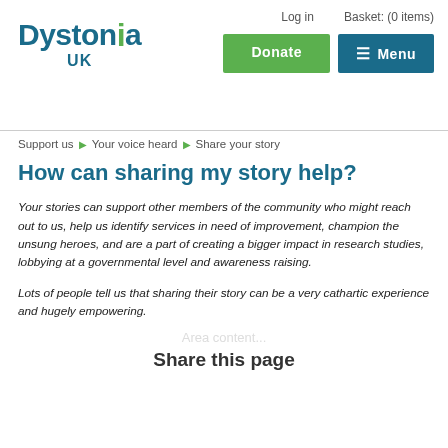Dystonia UK — Log in | Basket: (0 items) | Donate | Menu
Support us > Your voice heard > Share your story
How can sharing my story help?
Your stories can support other members of the community who might reach out to us, help us identify services in need of improvement, champion the unsung heroes, and are a part of creating a bigger impact in research studies, lobbying at a governmental level and awareness raising.
Lots of people tell us that sharing their story can be a very cathartic experience and hugely empowering.
Share this page